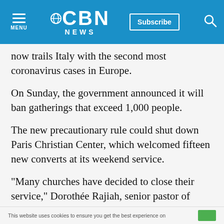CBN NEWS
now trails Italy with the second most coronavirus cases in Europe.
On Sunday, the government announced it will ban gatherings that exceed 1,000 people.
The new precautionary rule could shut down Paris Christian Center, which welcomed fifteen new converts at its weekend service.
"Many churches have decided to close their service," Dorothée Rajiah, senior pastor of Paris
This website uses cookies to ensure you get the best experience on